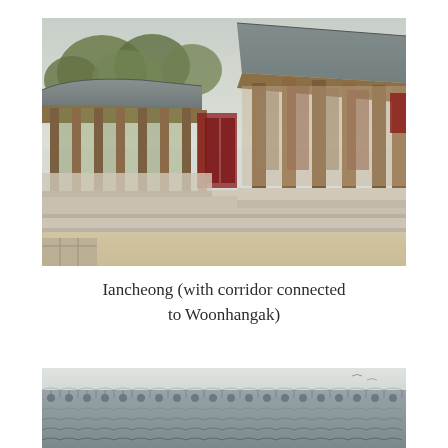[Figure (photo): Photograph of a traditional Korean palace building (Iancheong) with a tiled roof corridor forming an L-shape around a sandy courtyard. Wooden columns support the eaves. Trees visible in background against an overcast sky.]
Iancheong (with corridor connected to Woonhangak)
[Figure (photo): Partial photograph showing the tiled roof of another traditional Korean building, cropped at the bottom of the page.]